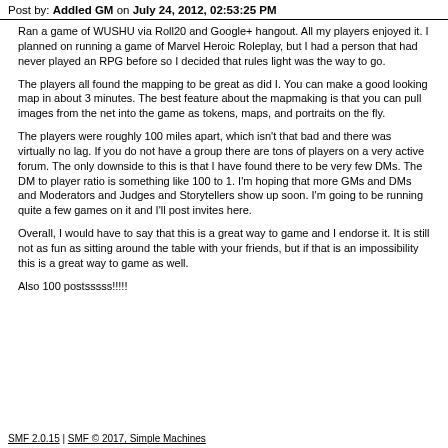Post by: Addled GM on July 24, 2012, 02:53:25 PM
Ran a game of WUSHU via Roll20 and Google+ hangout. All my players enjoyed it.  I planned on running a game of Marvel Heroic Roleplay, but I had a person that had never played an RPG before so I decided that rules light was the way to go.
The players all found the mapping to be great as did I.  You can make a good looking map in about 3 minutes.  The best feature about the mapmaking is that you can pull images from the net into the game as tokens, maps, and portraits on the fly.
The players were roughly 100 miles apart, which isn't that bad and there was virtually no lag.  If you do not have a group there are tons of players on a very active forum.  The only downside to this is that I have found there to be very few DMs.  The DM to player ratio is something like 100 to 1.  I'm hoping that more GMs and DMs and Moderators and Judges and Storytellers show up soon.  I'm going to be running quite a few games on it and I'll post invites here.
Overall, I would have to say that this is a great way to game and I endorse it.  It is still not as fun as sitting around the table with your friends, but if that is an impossibility this is a great way to game as well.
Also 100 postsssss!!!!!
SMF 2.0.15 | SMF © 2017, Simple Machines